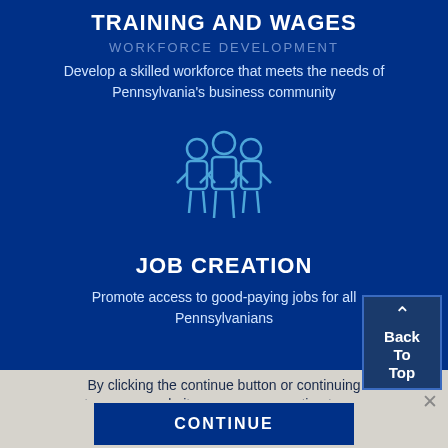TRAINING AND WAGES
Develop a skilled workforce that meets the needs of Pennsylvania's business community
[Figure (illustration): Outline icon of three people standing together, drawn in light blue on dark blue background]
JOB CREATION
Promote access to good-paying jobs for all Pennsylvanians
By clicking the continue button or continuing to use our website, you are consenting to our Privacy and Cookie Policy.
CONTINUE
Back To Top